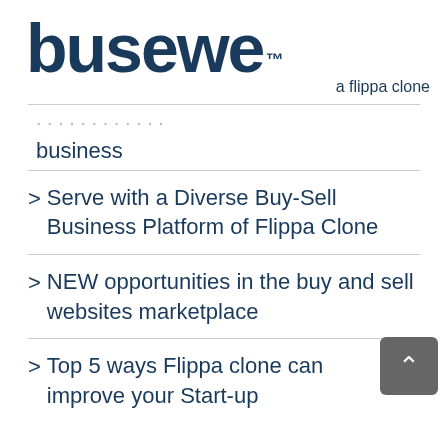[Figure (logo): busewe logo with TM mark and tagline 'a flippa clone']
business
> Serve with a Diverse Buy-Sell Business Platform of Flippa Clone
> NEW opportunities in the buy and sell websites marketplace
> Top 5 ways Flippa clone can improve your Start-up